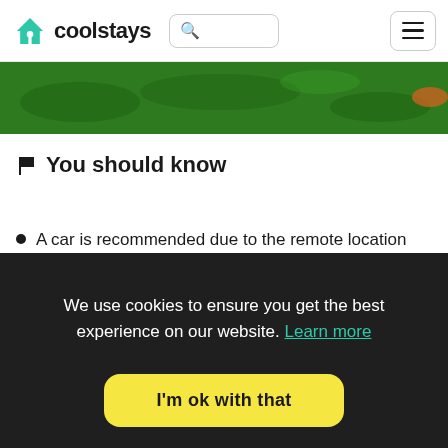coolstays
[Figure (photo): Green grass aerial photo strip]
You should know
A car is recommended due to the remote location
We use cookies to ensure you get the best experience on our website. Learn more
I'm ok with that